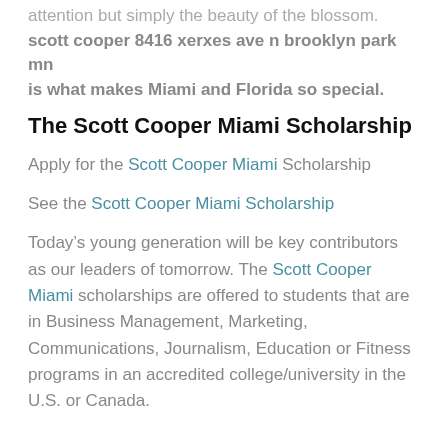attention but simply the beauty of the blossom. scott cooper 8416 xerxes ave n brooklyn park mn is what makes Miami and Florida so special.
The Scott Cooper Miami Scholarship
Apply for the Scott Cooper Miami Scholarship
See the Scott Cooper Miami Scholarship
Today’s young generation will be key contributors as our leaders of tomorrow. The Scott Cooper Miami scholarships are offered to students that are in Business Management, Marketing, Communications, Journalism, Education or Fitness programs in an accredited college/university in the U.S. or Canada.